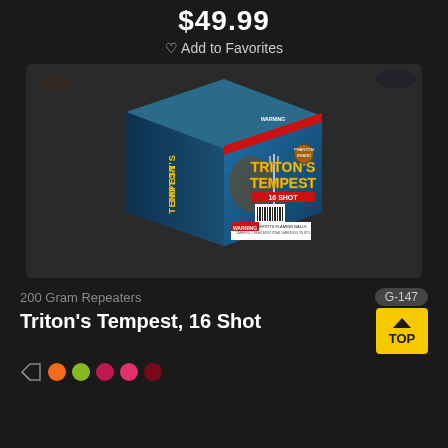$49.99
♡ Add to Favorites
[Figure (photo): Product photo of Triton's Tempest 16 Shot firework box by Phantom Brand, blue and gold packaging with Triton/Neptune figure holding a trident, warning label on front.]
200 Gram Repeaters
G-147
Triton's Tempest, 16 Shot
[Figure (other): Color dots row: orange, yellow-green, red, pink-red, dark red; plus a flag/tag icon]